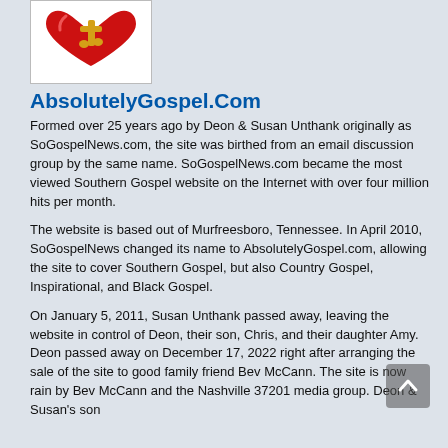[Figure (logo): AbsolutelyGospel.com logo — red heart with gold musical note/cross on white background]
AbsolutelyGospel.Com
Formed over 25 years ago by Deon & Susan Unthank originally as SoGospelNews.com, the site was birthed from an email discussion group by the same name. SoGospelNews.com became the most viewed Southern Gospel website on the Internet with over four million hits per month.
The website is based out of Murfreesboro, Tennessee. In April 2010, SoGospelNews changed its name to AbsolutelyGospel.com, allowing the site to cover Southern Gospel, but also Country Gospel, Inspirational, and Black Gospel.
On January 5, 2011, Susan Unthank passed away, leaving the website in control of Deon, their son, Chris, and their daughter Amy. Deon passed away on December 17, 2022 right after arranging the sale of the site to good family friend Bev McCann. The site is now rain by Bev McCann and the Nashville 37201 media group. Deon & Susan's son